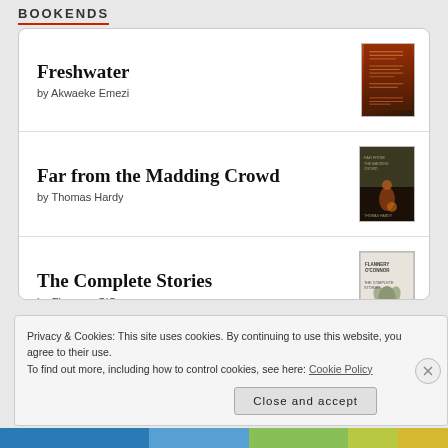BOOKENDS
Freshwater by Akwaeke Emezi
Far from the Madding Crowd by Thomas Hardy
The Complete Stories by Flannery O'Connor
Actress by Anne Enright
Privacy & Cookies: This site uses cookies. By continuing to use this website, you agree to their use.
To find out more, including how to control cookies, see here: Cookie Policy
Close and accept